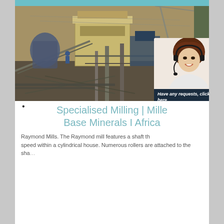[Figure (photo): Mining/milling equipment at an open-pit or industrial site, showing conveyors, structural steel, machinery and earthen walls in the background. A customer service agent (woman with headset) popup overlaid on the right side.]
Specialised Milling | Mille... Base Minerals I Africa...
Raymond Mills. The Raymond mill features a shaft th... speed within a cylindrical house. Numerous rollers are attached to the sha...